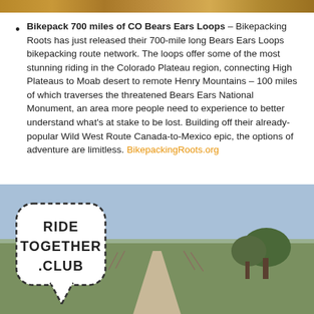[Figure (photo): Partial image at the top of the page, showing orange/brown tones — cropped photo of outdoor scene]
Bikepack 700 miles of CO Bears Ears Loops – Bikepacking Roots has just released their 700-mile long Bears Ears Loops bikepacking route network. The loops offer some of the most stunning riding in the Colorado Plateau region, connecting High Plateaus to Moab desert to remote Henry Mountains – 100 miles of which traverses the threatened Bears Ears National Monument, an area more people need to experience to better understand what's at stake to be lost. Building off their already-popular Wild West Route Canada-to-Mexico epic, the options of adventure are limitless. BikepackingRoots.org
[Figure (photo): Photograph of a dirt road stretching into the distance through green fields under a cloudy sky. Overlaid with a speech bubble containing the text RIDE TOGETHER .CLUB in bold block letters with a dashed border.]